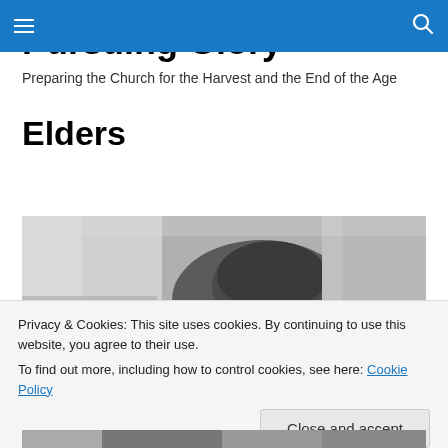Pursuing Glory
Preparing the Church for the Harvest and the End of the Age
Elders
[Figure (photo): Black and white photo of a person's head, partially visible, in a church or meeting setting]
Privacy & Cookies: This site uses cookies. By continuing to use this website, you agree to their use.
To find out more, including how to control cookies, see here: Cookie Policy
[Close and accept button]
[Figure (photo): Partial black and white photo visible at bottom of page]